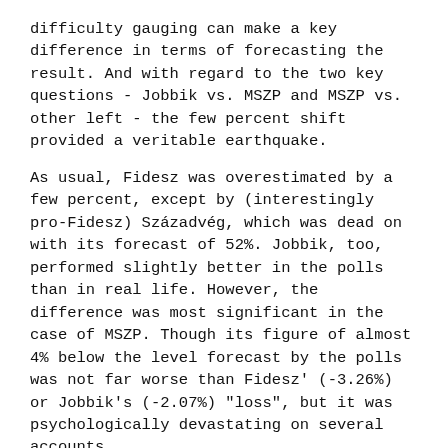difficulty gauging can make a key difference in terms of forecasting the result. And with regard to the two key questions - Jobbik vs. MSZP and MSZP vs. other left - the few percent shift provided a veritable earthquake.
As usual, Fidesz was overestimated by a few percent, except by (interestingly pro-Fidesz) Századvég, which was dead on with its forecast of 52%. Jobbik, too, performed slightly better in the polls than in real life. However, the difference was most significant in the case of MSZP. Though its figure of almost 4% below the level forecast by the polls was not far worse than Fidesz' (-3.26%) or Jobbik's (-2.07%) "loss", but it was psychologically devastating on several accounts.
Most importantly, this was MSZP's worst result in a national election in 24 years, the year of the first free elections in Hungary. Even in 2010, coming off an extremely calamitous and unsuccessful term in government, it did nearly twice this well. Second, in reality the party's leadership and its supporters had hoped that MSZP - often underestimated in surveys - would pull off a second place finish despite lagging